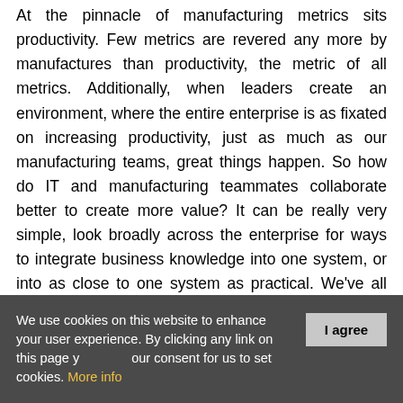At the pinnacle of manufacturing metrics sits productivity. Few metrics are revered any more by manufactures than productivity, the metric of all metrics. Additionally, when leaders create an environment, where the entire enterprise is as fixated on increasing productivity, just as much as our manufacturing teams, great things happen. So how do IT and manufacturing teammates collaborate better to create more value? It can be really very simple, look broadly across the enterprise for ways to integrate business knowledge into one system, or into as close to one system as practical. We've all heard the shortest distance between two points is a straight line, this is
We use cookies on this website to enhance your user experience. By clicking any link on this page you give your consent for us to set cookies. More info